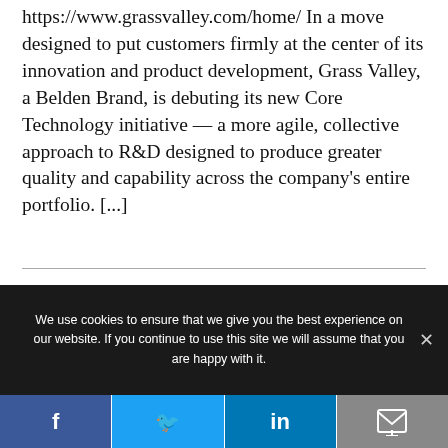Grass Valley | Stand 5.A514 | https://www.grassvalley.com/home/ In a move designed to put customers firmly at the center of its innovation and product development, Grass Valley, a Belden Brand, is debuting its new Core Technology initiative — a more agile, collective approach to R&D designed to produce greater quality and capability across the company's entire portfolio. [...]
We use cookies to ensure that we give you the best experience on our website. If you continue to use this site we will assume that you are happy with it.
[Figure (other): Social media sharing bar with Facebook, Twitter, LinkedIn, and Email/bookmark buttons]